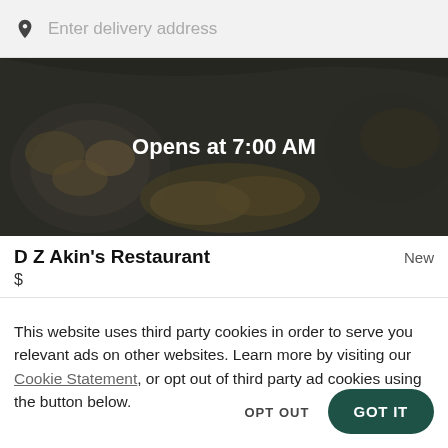Enter delivery address
[Figure (photo): Dark food photo with text overlay: Opens at 7:00 AM]
D Z Akin's Restaurant
New
$
This website uses third party cookies in order to serve you relevant ads on other websites. Learn more by visiting our Cookie Statement, or opt out of third party ad cookies using the button below.
OPT OUT
GOT IT